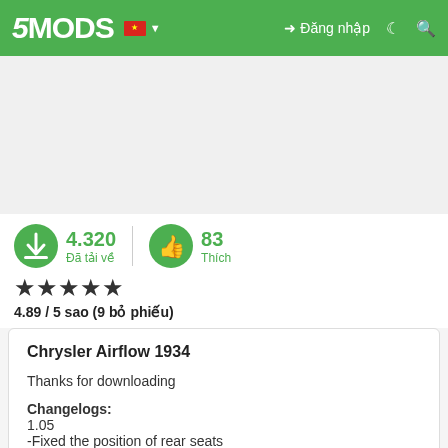5MODS — Đăng nhập
[Figure (screenshot): Gray placeholder image area for mod preview]
4.320 Đã tải về | 83 Thích
★★★★★ 4.89 / 5 sao (9 bỏ phiếu)
Chrysler Airflow 1934
Thanks for downloading
Changelogs:
1.05
-Fixed the position of rear seats
1.1